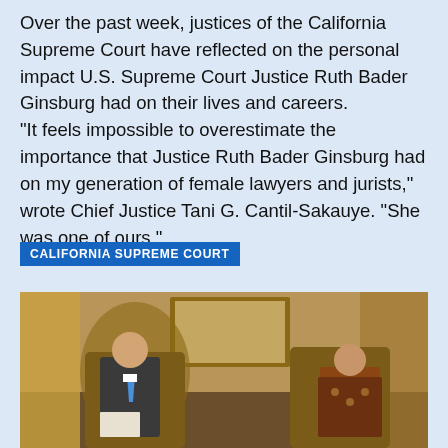Over the past week, justices of the California Supreme Court have reflected on the personal impact U.S. Supreme Court Justice Ruth Bader Ginsburg had on their lives and careers. "It feels impossible to overestimate the importance that Justice Ruth Bader Ginsburg had on my generation of female lawyers and jurists," wrote Chief Justice Tani G. Cantil-Sakauye. "She was one of ours."
CALIFORNIA SUPREME COURT
[Figure (photo): Two people seated in ornate chairs in an elegant wood-paneled room. A man in a suit and tie sits on the left, and a woman in a patterned top sits on the right, appearing to be in conversation.]